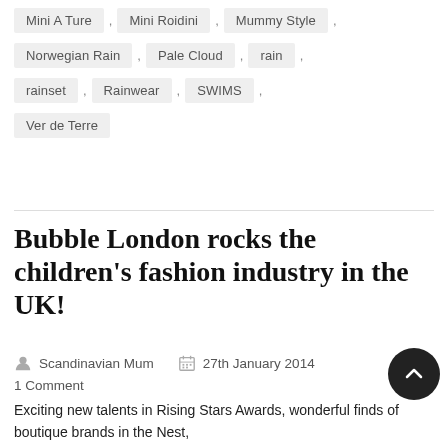Mini A Ture , Mini Roidini , Mummy Style ,
Norwegian Rain , Pale Cloud , rain ,
rainset , Rainwear , SWIMS ,
Ver de Terre
Bubble London rocks the children's fashion industry in the UK!
Scandinavian Mum   27th January 2014   1 Comment
Exciting new talents in Rising Stars Awards, wonderful finds of boutique brands in the Nest,